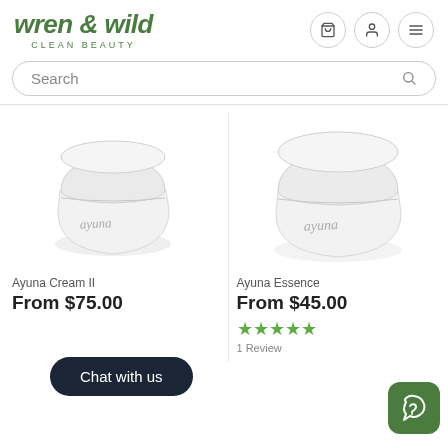wren & wild CLEAN BEAUTY
Search
[Figure (photo): White rounded cosmetic jar with cursive 'ayuna' branding — Ayuna Cream II product]
Ayuna Cream II
From $75.00
[Figure (photo): White rounded cosmetic jar with cursive 'ayuna' branding — Ayuna Essence product]
Ayuna Essence
From $45.00
1 Review